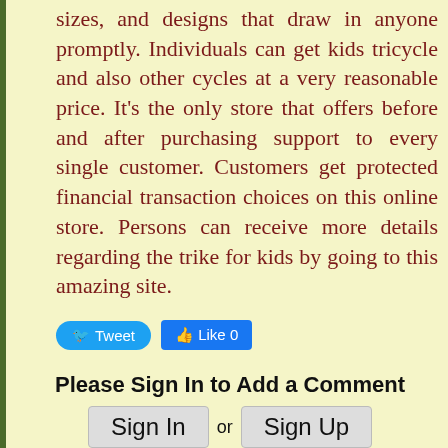sizes, and designs that draw in anyone promptly. Individuals can get kids tricycle and also other cycles at a very reasonable price. It's the only store that offers before and after purchasing support to every single customer. Customers get protected financial transaction choices on this online store. Persons can receive more details regarding the trike for kids by going to this amazing site.
Tweet  Like 0
Please Sign In to Add a Comment
Sign In or Sign Up